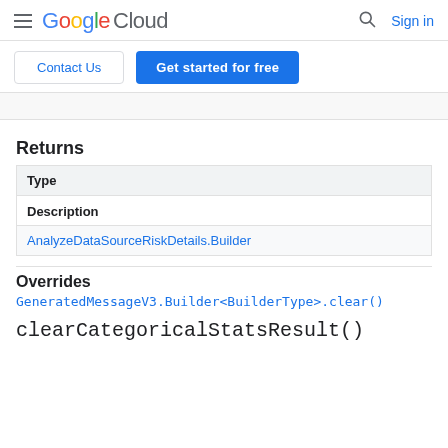Google Cloud — Sign in
Contact Us | Get started for free
Returns
| Type |
| --- |
| Description |
| AnalyzeDataSourceRiskDetails.Builder |
Overrides
GeneratedMessageV3.Builder<BuilderType>.clear()
clearCategoricalStatsResult()